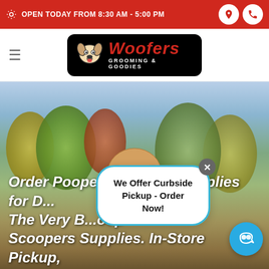OPEN TODAY FROM 8:30 AM - 5:00 PM
[Figure (logo): Woofers Grooming & Goodies logo with cartoon dog mascot on black rounded rectangle background]
[Figure (photo): Golden retriever dog looking at camera in a garden/vineyard setting with autumn foliage in background]
Order Pooper Scoopers Supplies for D... The Very B...oop Scoopers Supplies. In-Store Pickup,
We Offer Curbside Pickup - Order Now!